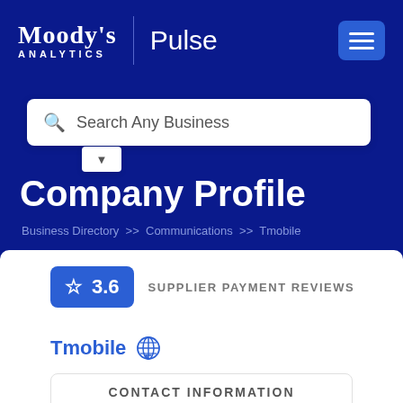Moody's Analytics | Pulse
Search Any Business
Company Profile
Business Directory >> Communications >> Tmobile
3.6 SUPPLIER PAYMENT REVIEWS
Tmobile
CONTACT INFORMATION